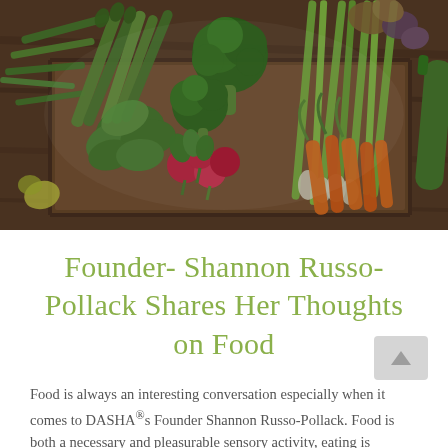[Figure (photo): Overhead photo of a wooden crate filled with fresh vegetables including green beans, asparagus, broccoli, spring onions, carrots, radishes, leafy greens, potatoes, and zucchini arranged on a rustic wooden surface.]
Founder- Shannon Russo-Pollack Shares Her Thoughts on Food
Food is always an interesting conversation especially when it comes to DASHA®s Founder Shannon Russo-Pollack. Food is both a necessary and pleasurable sensory activity, eating is something that happens every